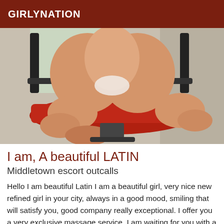GIRLYNATION
[Figure (photo): Close-up photo of a person sitting on a red cushioned chair, showing legs and feet, with a window and chair armrests visible in the background.]
I am, A beautiful LATIN
Middletown escort outcalls
Hello I am beautiful Latin I am a beautiful girl, very nice new refined girl in your city, always in a good mood, smiling that will satisfy you, good company really exceptional. I offer you a very exclusive massage service. I am waiting for you with a very nice lingerie. Do